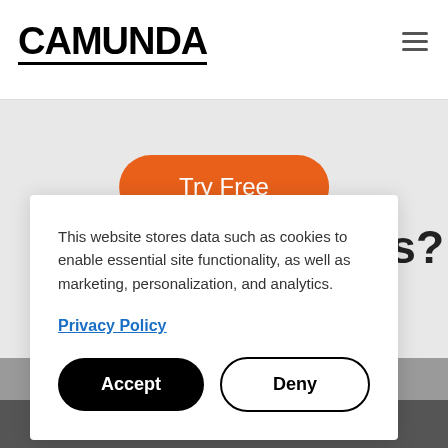CAMUNDA
[Figure (screenshot): Orange 'Try Free' pill button on light grey background]
This website stores data such as cookies to enable essential site functionality, as well as marketing, personalization, and analytics.
Privacy Policy
Accept
Deny